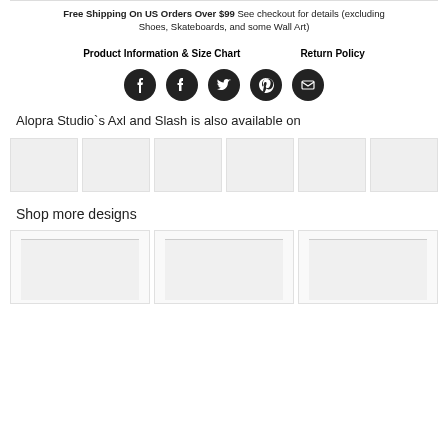Free Shipping On US Orders Over $99 See checkout for details (excluding Shoes, Skateboards, and some Wall Art)
Product Information & Size Chart    Return Policy
[Figure (infographic): Five social media share icons (Facebook, Tumblr, Twitter, Pinterest, Email) as white icons on black circles]
Alopra Studio`s Axl and Slash is also available on
[Figure (infographic): Row of product thumbnail placeholder boxes in light gray]
Shop more designs
[Figure (infographic): Three design preview placeholder boxes arranged in a row]